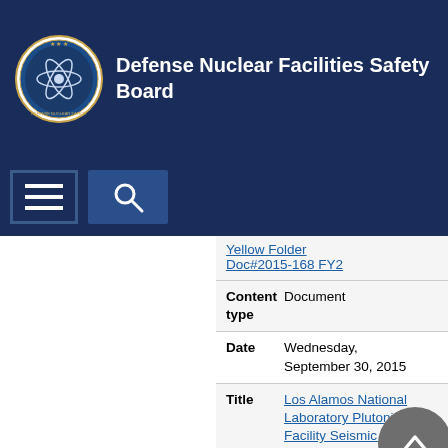Defense Nuclear Facilities Safety Board
Yellow Folder Doc#2015-168 FY2
| Field | Value |
| --- | --- |
| Content type | Document |
| Date | Wednesday, September 30, 2015 |
| Title | Los Alamos National Laboratory Plutonium Facility Seismic Safety |
| Content type | Document |